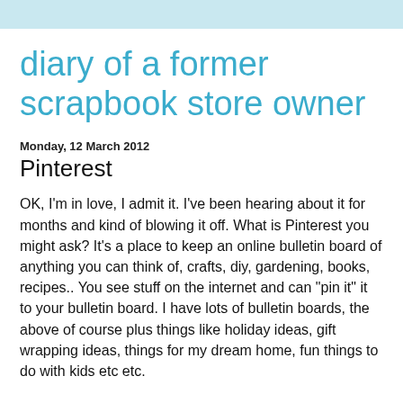diary of a former scrapbook store owner
Monday, 12 March 2012
Pinterest
OK, I'm in love, I admit it.  I've been hearing about it for months and kind of blowing it off.  What is Pinterest you might ask?  It's a place to keep an online bulletin board of anything you can think of, crafts, diy, gardening, books, recipes..  You see stuff on the internet and can "pin it" it to your bulletin board.  I have lots of bulletin boards, the above of course plus things like holiday ideas, gift wrapping ideas, things for my dream home, fun things to do with kids etc etc.